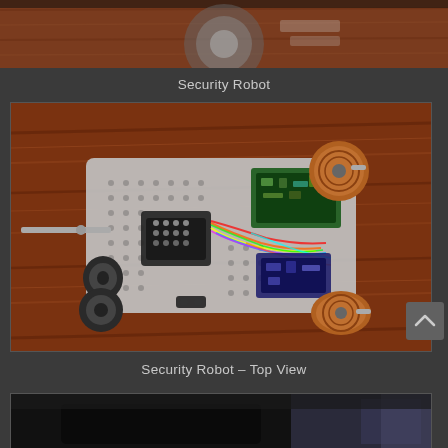[Figure (photo): Partial top view of a security robot chassis on a wooden floor, cropped at the top of the page]
Security Robot
[Figure (photo): Top-down view of a security robot showing a perforated metal chassis with wheels, wiring, circuit boards, motors, and a servo. Photographed on a wooden floor.]
Security Robot – Top View
[Figure (photo): Partial view of another robot or device, dark image with some background lighting, cropped at the bottom of the page]